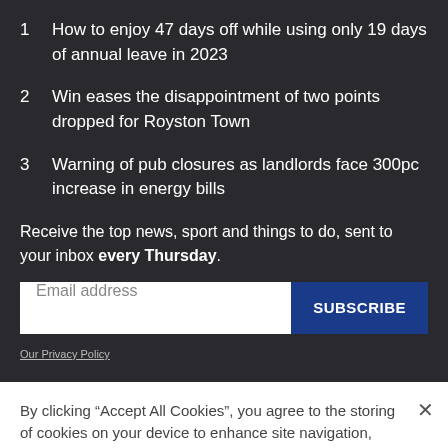1  How to enjoy 47 days off while using only 19 days of annual leave in 2023
2  Win eases the disappointment of two points dropped for Royston Town
3  Warning of pub closures as landlords face 300pc increase in energy bills
Receive the top news, sport and things to do, sent to your inbox every Thursday.
Email address
SUBSCRIBE
Our Privacy Policy
By clicking “Accept All Cookies”, you agree to the storing of cookies on your device to enhance site navigation, analyze site usage, and assist in our marketing efforts.